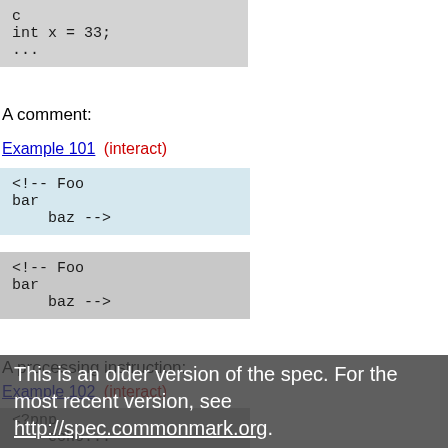[Figure (screenshot): Code block showing partial C code with 'c', 'int x = 33;', '...' on gray background]
A comment:
Example 101  (interact)
[Figure (screenshot): Code block on light blue background showing: <!-- Foo
bar
    baz -->]
[Figure (screenshot): Code block on gray background showing: <!-- Foo
bar
    baz -->]
A processing instruction:
Example 102  (interact)
[Figure (screenshot): Code block on gray background showing: <?pnp
    echo...]
This is an older version of the spec. For the most recent version, see http://spec.commonmark.org.